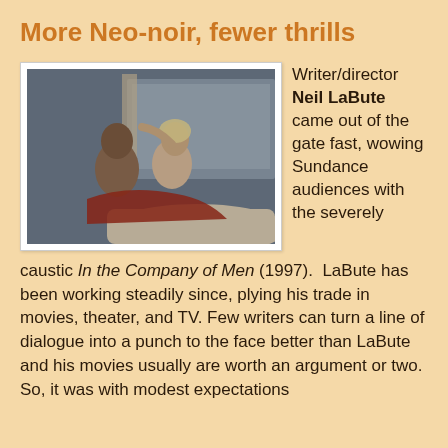More Neo-noir, fewer thrills
[Figure (photo): A couple embracing intimately on a couch near a window with ocean view in the background, still from a film.]
Writer/director Neil LaBute came out of the gate fast, wowing Sundance audiences with the severely caustic In the Company of Men (1997).  LaBute has been working steadily since, plying his trade in movies, theater, and TV. Few writers can turn a line of dialogue into a punch to the face better than LaBute and his movies usually are worth an argument or two. So, it was with modest expectations